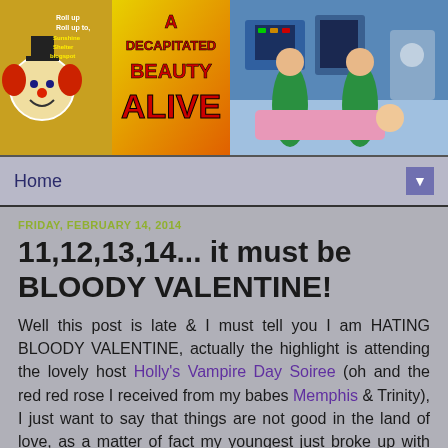[Figure (illustration): Blog header banner with clown image on left, 'A Decapitated Beauty Alive' text in center, and medical/operating room illustration on right]
Home
FRIDAY, FEBRUARY 14, 2014
11,12,13,14... it must be BLOODY VALENTINE!
Well this post is late & I must tell you I am HATING BLOODY VALENTINE, actually the highlight is attending the lovely host Holly's Vampire Day Soiree (oh and the red red rose I received from my babes Memphis & Trinity), I just want to say that things are not good in the land of love, as a matter of fact my youngest just broke up with her boyfriend, totally sucks I know, I swear if I was charmed by a creature of the night he wouldn't be stunning, seducing me to the dark side with his toothy smile, hypnotic charms and sink his teeth into